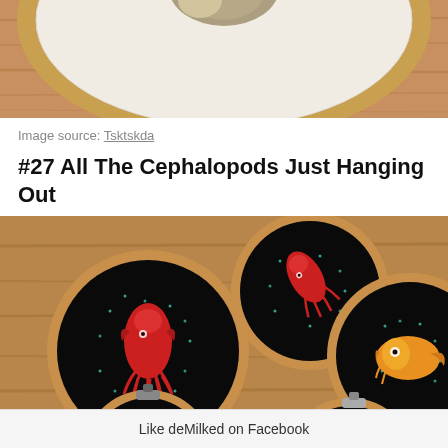[Figure (photo): Top portion of an embroidery hoop showing a needle-felted or embroidered animal (appears to be a hedgehog or small animal) on white fabric, with a wooden hoop frame and brown wooden surface below.]
Image source: Tsktskda
#27 All The Cephalopods Just Hanging Out
[Figure (photo): Three embroidery hoops on a wooden surface, each featuring embroidered cephalopods (squid) on black fabric with teal dot details resembling stars. Left hoop shows a large red squid, center hoop shows a smaller red squid, right hoop shows a yellow/orange cuttlefish. Partial view of two more hoops at bottom.]
Like deMilked on Facebook